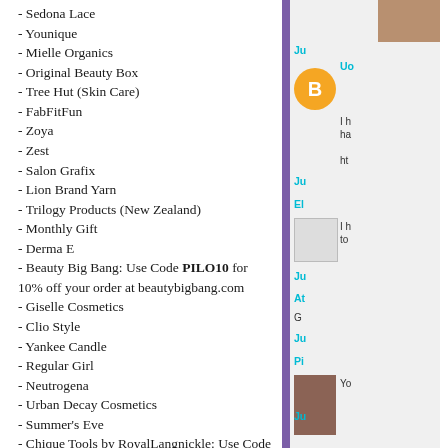- Sedona Lace
- Younique
- Mielle Organics
- Original Beauty Box
- Tree Hut (Skin Care)
- FabFitFun
- Zoya
- Zest
- Salon Grafix
- Lion Brand Yarn
- Trilogy Products (New Zealand)
- Monthly Gift
- Derma E
- Beauty Big Bang: Use Code PILO10 for 10% off your order at beautybigbang.com
- Giselle Cosmetics
- Clio Style
- Yankee Candle
- Regular Girl
- Neutrogena
- Urban Decay Cosmetics
- Summer's Eve
- Chique Tools by RoyalLangnickle: Use Code PILAR for 10% off your order at https://beautyusa.royalbrush.com
- Goose Creek Candle
- Smart Spa
- Otica